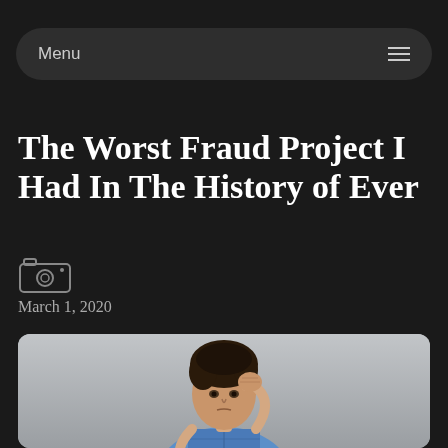Menu
The Worst Fraud Project I Had In The History of Ever
March 1, 2020
[Figure (photo): Young man with curly dark hair, wearing a blue checked shirt, holding his fist to his head in a frustrated or stressed pose, against a light grey background.]